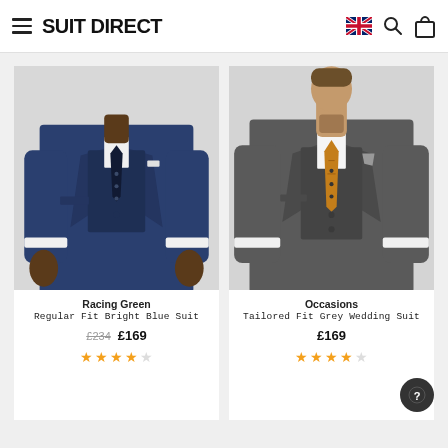Suit Direct
[Figure (photo): Man wearing a navy/bright blue three-piece suit with a dark tie, shown from chest to lower body, light grey background]
Racing Green
Regular Fit Bright Blue Suit
£234  £169
★★★★☆
[Figure (photo): Man wearing a grey tailored three-piece suit with an orange/gold paisley tie and grey pocket square, shown from head to waist, light grey background]
Occasions
Tailored Fit Grey Wedding Suit
£169
★★★★☆